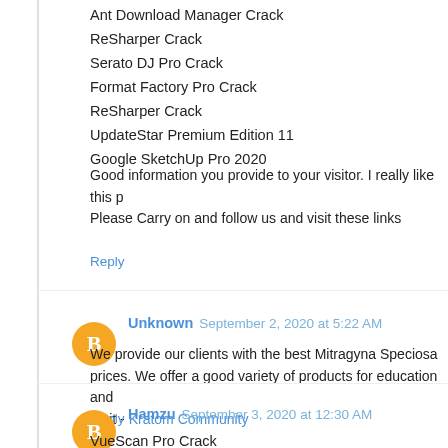Ant Download Manager Crack
ReSharper Crack
Serato DJ Pro Crack
Format Factory Pro Crack
ReSharper Crack
UpdateStar Premium Edition 11
Google SketchUp Pro 2020
Good information you provide to your visitor. I really like this p
Please Carry on and follow us and visit these links
Reply
Unknown  September 2, 2020 at 5:22 AM
We provide our clients with the best Mitragyna Speciosa prices. We offer a good variety of products for education and Visit - Kratom Community
Reply
Hamzu  September 3, 2020 at 12:30 AM
VueScan Pro Crack
iExplorer Crack